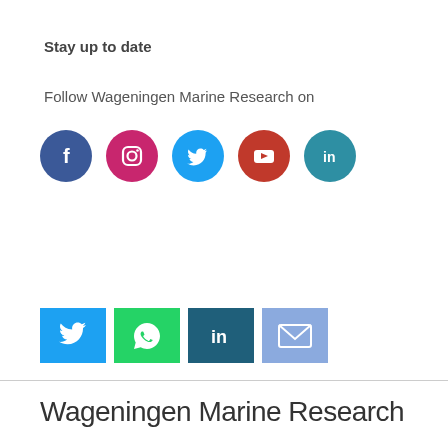Stay up to date
Follow Wageningen Marine Research on
[Figure (illustration): Row of five social media circle icons: Facebook (dark blue), Instagram (pink/magenta), Twitter (light blue), YouTube (red), LinkedIn (teal)]
[Figure (illustration): Row of four square share buttons: Twitter (blue), WhatsApp (green), LinkedIn (dark teal), Email (light blue/purple)]
Wageningen Marine Research